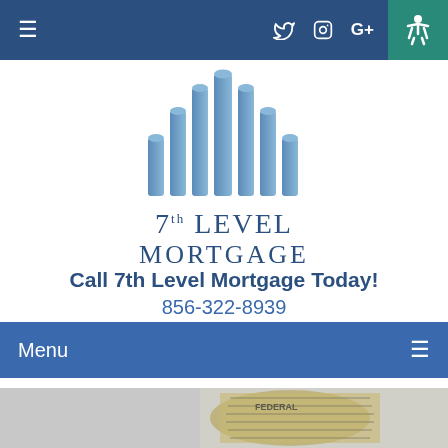Navigation bar with hamburger menu, Twitter, Instagram, Google+ icons, and accessibility button
[Figure (logo): 7th Level Mortgage logo with stylized blue building/bar chart columns above the text '7th LEVEL MORTGAGE']
Call 7th Level Mortgage Today!
856-322-8939
Menu
[Figure (photo): Close-up photo of a rolled bundle of US dollar bills on a gray background]